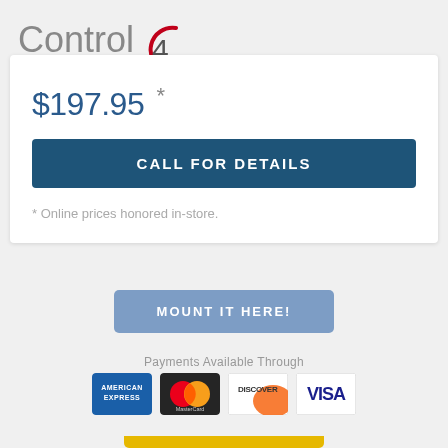[Figure (logo): Control4 logo with stylized '4' in a red circle arc]
$197.95 *
CALL FOR DETAILS
* Online prices honored in-store.
MOUNT IT HERE!
Payments Available Through
[Figure (logo): American Express credit card logo]
[Figure (logo): MasterCard credit card logo]
[Figure (logo): Discover credit card logo]
[Figure (logo): Visa credit card logo]